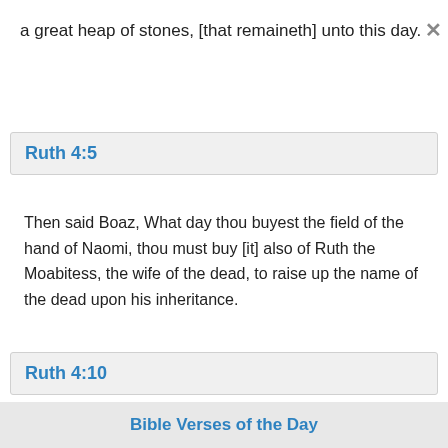a great heap of stones, [that remaineth] unto this day.
Ruth 4:5
Then said Boaz, What day thou buyest the field of the hand of Naomi, thou must buy [it] also of Ruth the Moabitess, the wife of the dead, to raise up the name of the dead upon his inheritance.
Ruth 4:10
Bible Verses of the Day